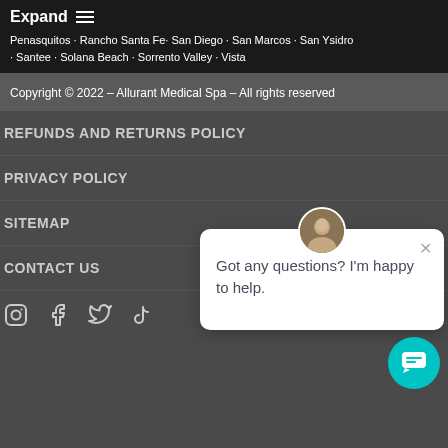Expand ≡
Penasquitos · Rancho Santa Fe· San Diego · San Marcos · San Ysidro · Santee · Solana Beach · Sorrento Valley · Vista
Copyright © 2022 – Allurant Medical Spa – All rights reserved
REFUNDS AND RETURNS POLICY
PRIVACY POLICY
SITEMAP
[Figure (screenshot): Chat popup with avatar photo and text 'Got any questions? I'm happy to help.' with a close X button]
CONTACT US
[Figure (other): Social media icons: Instagram, Facebook, Twitter/X, TikTok in light gray]
[Figure (other): Teal circular chat button at bottom right]